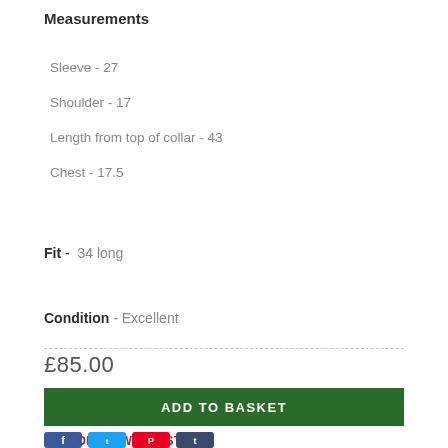Measurements
Sleeve - 27
Shoulder - 17
Length from top of collar - 43
Chest - 17.5
Fit - 34 long
Condition - Excellent
£85.00
ADD TO BASKET
ADD TO WISHLIST